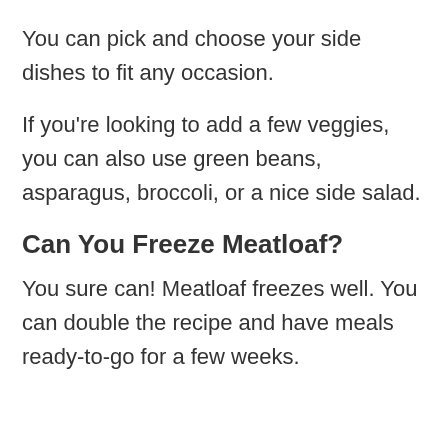You can pick and choose your side dishes to fit any occasion.
If you’re looking to add a few veggies, you can also use green beans, asparagus, broccoli, or a nice side salad.
Can You Freeze Meatloaf?
You sure can! Meatloaf freezes well. You can double the recipe and have meals ready-to-go for a few weeks.